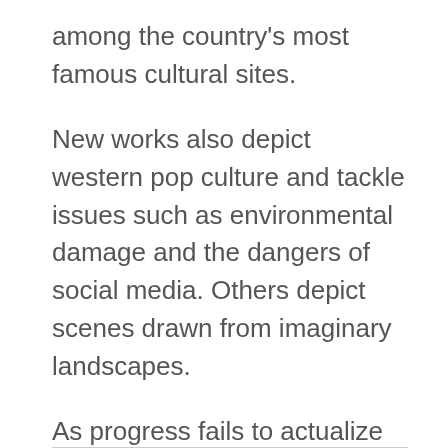among the country's most famous cultural sites.
New works also depict western pop culture and tackle issues such as environmental damage and the dangers of social media. Others depict scenes drawn from imaginary landscapes.
As progress fails to actualize the aspirations embedded in their airbrushed surfaces, the optimism that inspired these murals fades. Fewer new murals are appearing, and those that remain have become repositories for dreams that fade as their paint fades or their surfaces are vandalized, bulldozed, or hidden.